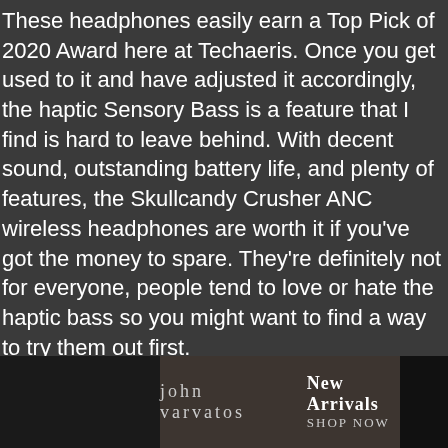These headphones easily earn a Top Pick of 2020 Award here at Techaeris. Once you get used to it and have adjusted it accordingly, the haptic Sensory Bass is a feature that I find is hard to leave behind. With decent sound, outstanding battery life, and plenty of features, the Skullcandy Crusher ANC wireless headphones are worth it if you've got the money to spare. They're definitely not for everyone, people tend to love or hate the haptic bass so you might want to find a way to try them out first.
*We use revenue-generating affiliate links and may earn a commission for purchases made using them. Read more on our disclaimer page.
Last Updated: February 6, 2021
[Figure (other): Advertisement banner for John Varvatos showing 'New Arrivals' and 'SHOP NOW' text over a dark fashion photograph]